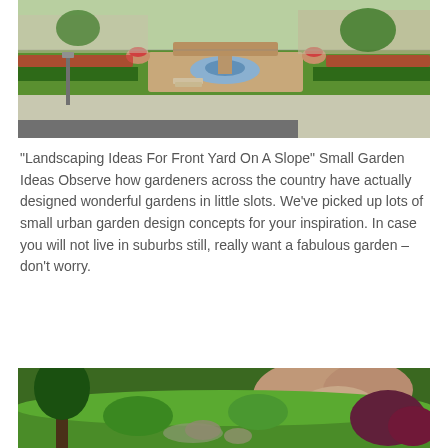[Figure (photo): Front yard landscaping with stone fountain, flower beds with red flowers, green lawn, hedges, and a residential house in the background]
“Landscaping Ideas For Front Yard On A Slope” Small Garden Ideas Observe how gardeners across the country have actually designed wonderful gardens in little slots. We’ve picked up lots of small urban garden design concepts for your inspiration. In case you will not live in suburbs still, really want a fabulous garden – don’t worry.
[Figure (photo): A rocky hillside garden path with green foliage, trees, and reddish-purple shrubs among large pink and tan boulders]